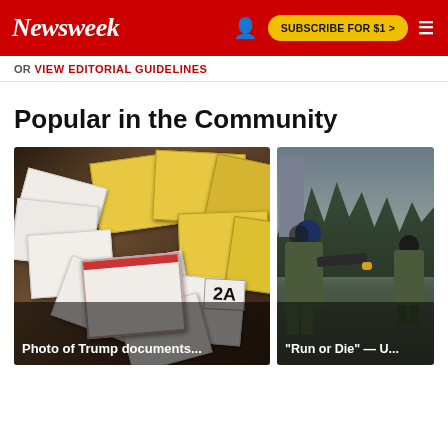Newsweek | SUBSCRIBE FOR $1 >
OR VIEW EDITORIAL GUIDELINES
Popular in the Community
[Figure (photo): Photo of scattered documents and papers on a table, including white and yellow papers]
Photo of Trump documents...
[Figure (photo): Two soldiers in camouflage uniforms, one aiming a weapon]
"Run or Die" — U...